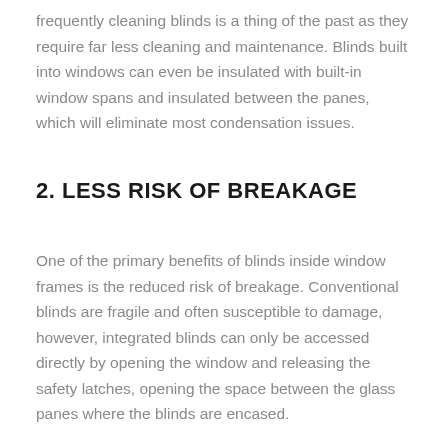frequently cleaning blinds is a thing of the past as they require far less cleaning and maintenance. Blinds built into windows can even be insulated with built-in window spans and insulated between the panes, which will eliminate most condensation issues.
2. LESS RISK OF BREAKAGE
One of the primary benefits of blinds inside window frames is the reduced risk of breakage. Conventional blinds are fragile and often susceptible to damage, however, integrated blinds can only be accessed directly by opening the window and releasing the safety latches, opening the space between the glass panes where the blinds are encased.